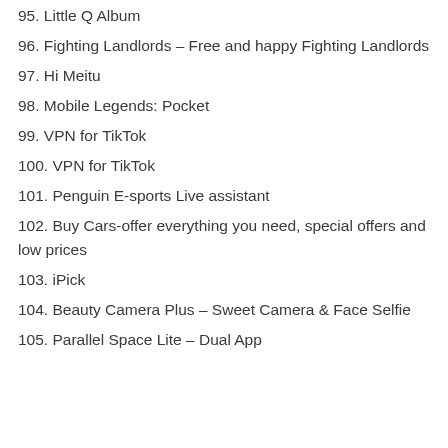95. Little Q Album
96. Fighting Landlords – Free and happy Fighting Landlords
97. Hi Meitu
98. Mobile Legends: Pocket
99. VPN for TikTok
100. VPN for TikTok
101. Penguin E-sports Live assistant
102. Buy Cars-offer everything you need, special offers and low prices
103. iPick
104. Beauty Camera Plus – Sweet Camera & Face Selfie
105. Parallel Space Lite – Dual App